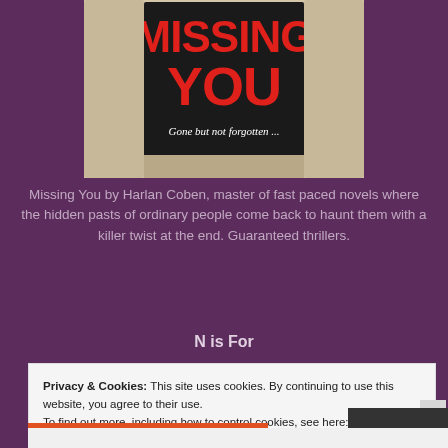[Figure (photo): Photo of a book cover titled 'MISSING YOU' with subtitle 'Gone but not forgotten...' — red text on black cover, propped up against cream/beige pillows]
Missing You by Harlan Coben, master of fast paced novels where the hidden pasts of ordinary people come back to haunt them with a killer twist at the end. Guaranteed thrillers.
N is For
Privacy & Cookies: This site uses cookies. By continuing to use this website, you agree to their use. To find out more, including how to control cookies, see here: Cookie Policy
Close and accept